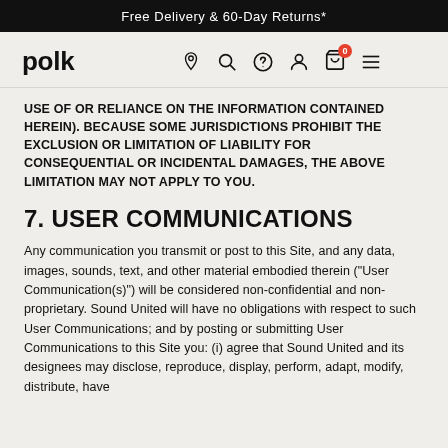Free Delivery & 60-Day Returns*
[Figure (logo): Polk audio brand logo and navigation icons including location, search, help, account, cart (0), and menu]
USE OF OR RELIANCE ON THE INFORMATION CONTAINED HEREIN). BECAUSE SOME JURISDICTIONS PROHIBIT THE EXCLUSION OR LIMITATION OF LIABILITY FOR CONSEQUENTIAL OR INCIDENTAL DAMAGES, THE ABOVE LIMITATION MAY NOT APPLY TO YOU.
7. USER COMMUNICATIONS
Any communication you transmit or post to this Site, and any data, images, sounds, text, and other material embodied therein ("User Communication(s)") will be considered non-confidential and non-proprietary. Sound United will have no obligations with respect to such User Communications; and by posting or submitting User Communications to this Site you: (i) agree that Sound United and its designees may disclose, reproduce, display, perform, adapt, modify, distribute, have